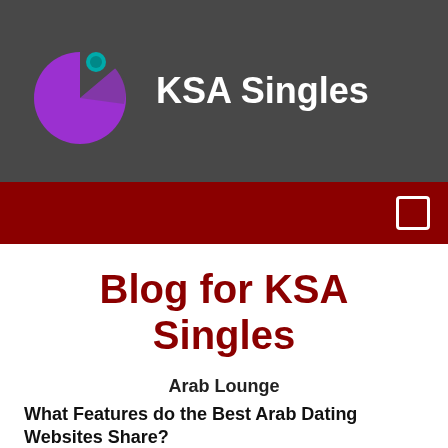KSA Singles
Blog for KSA Singles
Arab Lounge
What Features do the Best Arab Dating Websites Share?
If you're tired of dealing with the challenges that come with playing the traditional Arablounge dating game, it might be time to finally give ArabMatchmaking a try. After all, an estimated 191